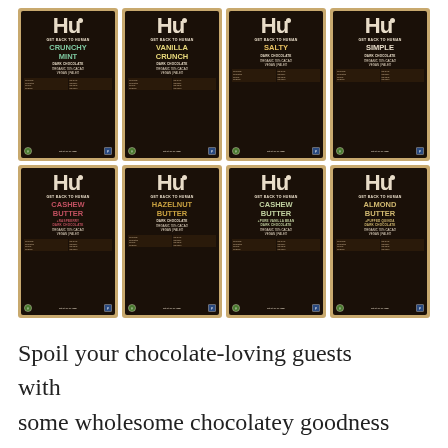[Figure (photo): Eight Hu chocolate bars arranged in a 4x2 grid on a white background. Top row (left to right): Crunchy Mint Dark Chocolate, Vanilla Crunch Dark Chocolate, Salty Dark Chocolate, Simple Dark Chocolate. Bottom row (left to right): Cashew Butter + Raspberry Dark Chocolate, Hazelnut Butter Dark Chocolate, Cashew Butter + Pure Vanilla Bean Dark Chocolate, Almond Butter + Puffed Quinoa Dark Chocolate. Each bar features the 'Hu — Get Back to Human' branding on a dark brown/black wrapper with kraft paper backing. All bars are Organic 70% Cacao, Vegan, Paleo.]
Spoil your chocolate-loving guests with some wholesome chocolatey goodness